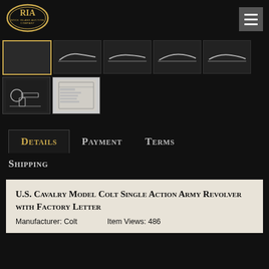[Figure (logo): Rock Island Auction Company oval logo with RIA text in gold on dark background]
[Figure (other): Hamburger menu icon (three horizontal white lines) on dark gray background]
[Figure (photo): Row of 5 thumbnail images of a Colt Single Action Army revolver from various angles, first thumbnail highlighted with gold border]
[Figure (photo): Second row with 2 thumbnails: one showing the full revolver and one showing a factory letter document]
Details
Payment
Terms
Shipping
U.S. Cavalry Model Colt Single Action Army Revolver with Factory Letter
Manufacturer: Colt    Item Views: 486